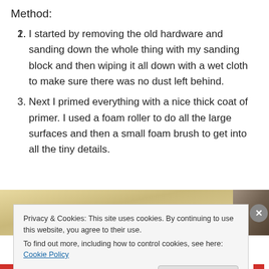Method:
I started by removing the old hardware and sanding down the whole thing with my sanding block and then wiping it all down with a wet cloth to make sure there was no dust left behind.
Next I primed everything with a nice thick coat of primer. I used a foam roller to do all the large surfaces and then a small foam brush to get into all the tiny details.
[Figure (photo): Partial view of a furniture piece being painted/primed, showing a light gold/cream colored surface with a dark corner]
Privacy & Cookies: This site uses cookies. By continuing to use this website, you agree to their use.
To find out more, including how to control cookies, see here: Cookie Policy